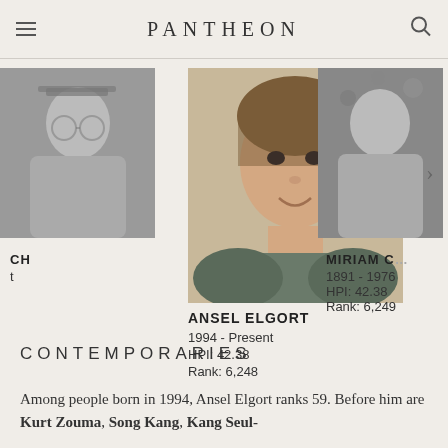PANTHEON
[Figure (photo): Partial black-and-white photo of a person on the left side of the carousel]
CH
t
[Figure (photo): Color photo of Ansel Elgort, a young man with brown hair]
ANSEL ELGORT
1994 - Present
HPI: 42.38
Rank: 6,248
[Figure (photo): Partial black-and-white photo of a person on the right side of the carousel]
MIRIAM C…
1891 - 1976
HPI: 42.38
Rank: 6,249
CONTEMPORARIES
Among people born in 1994, Ansel Elgort ranks 59. Before him are Kurt Zouma, Song Kang, Kang Seul-